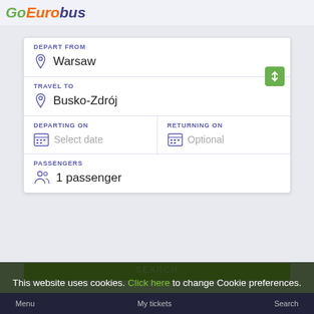GoEurobus
DEPART FROM
Warsaw
TRAVEL TO
Busko-Zdrój
DEPARTING ON
Select date
RETURNING ON
Optional
PASSENGERS
1 passenger
SEARCH
This website uses cookies. Click here to change Cookie preferences. If that's okay with you, click Confirm.
Confirm
Menu   My tickets   Search